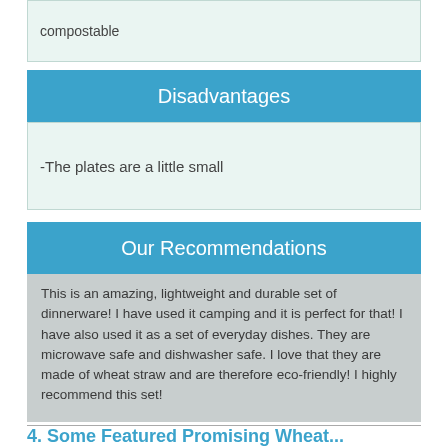compostable
Disadvantages
-The plates are a little small
Our Recommendations
This is an amazing, lightweight and durable set of dinnerware! I have used it camping and it is perfect for that! I have also used it as a set of everyday dishes. They are microwave safe and dishwasher safe. I love that they are made of wheat straw and are therefore eco-friendly! I highly recommend this set!
4. Some Featured Promising Wheat...